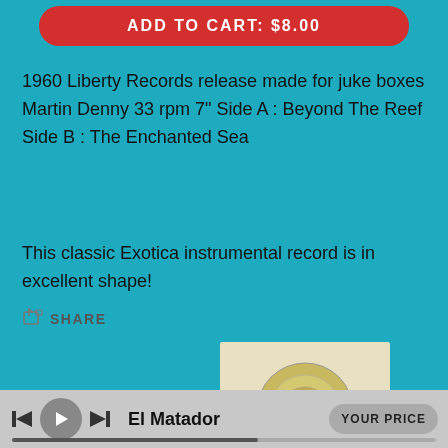ADD TO CART: $8.00
1960 Liberty Records release made for juke boxes Martin Denny 33 rpm 7" Side A : Beyond The Reef Side B : The Enchanted Sea
This classic Exotica instrumental record is in excellent shape!
SHARE
[Figure (photo): Photo of a vinyl record with a golden/tan label, partially visible in white sleeve]
El Matador
YOUR PRICE